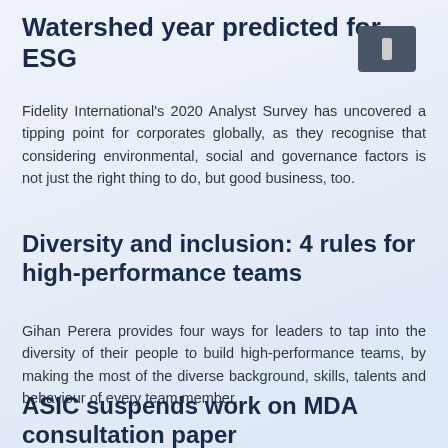Watershed year predicted for ESG
Fidelity International's 2020 Analyst Survey has uncovered a tipping point for corporates globally, as they recognise that considering environmental, social and governance factors is not just the right thing to do, but good business, too.
Diversity and inclusion: 4 rules for high-performance teams
Gihan Perera provides four ways for leaders to tap into the diversity of their people to build high-performance teams, by making the most of the diverse background, skills, talents and behaviour of every team member.
ASIC suspends work on MDA consultation paper